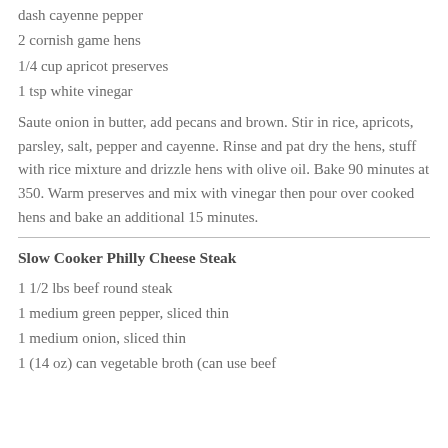dash cayenne pepper
2 cornish game hens
1/4 cup apricot preserves
1 tsp white vinegar
Saute onion in butter, add pecans and brown. Stir in rice, apricots, parsley, salt, pepper and cayenne. Rinse and pat dry the hens, stuff with rice mixture and drizzle hens with olive oil. Bake 90 minutes at 350. Warm preserves and mix with vinegar then pour over cooked hens and bake an additional 15 minutes.
Slow Cooker Philly Cheese Steak
1 1/2 lbs beef round steak
1 medium green pepper, sliced thin
1 medium onion, sliced thin
1 (14 oz) can vegetable broth (can use beef